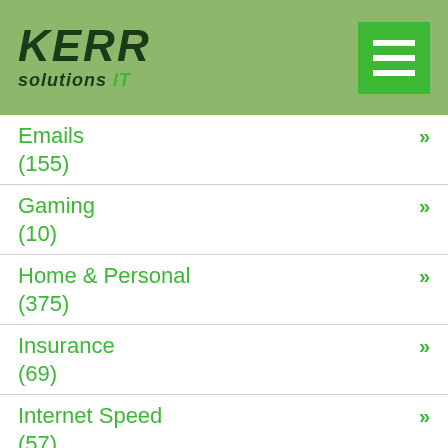[Figure (logo): KERR solutions IT logo on green background with hamburger menu button]
Emails (155) »
Gaming (10) »
Home & Personal (375) »
Insurance (69) »
Internet Speed (57) »
Laptop or Desktop »